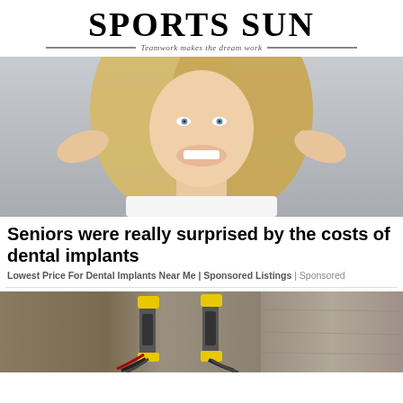SPORTS SUN — Teamwork makes the dream work
[Figure (photo): Smiling blonde woman pointing fingers at her teeth, wearing a white top, gray background]
Seniors were really surprised by the costs of dental implants
Lowest Price For Dental Implants Near Me | Sponsored Listings | Sponsored
[Figure (photo): Construction or engineering site showing yellow hydraulic equipment and cables against a concrete/stone wall and dirt excavation]